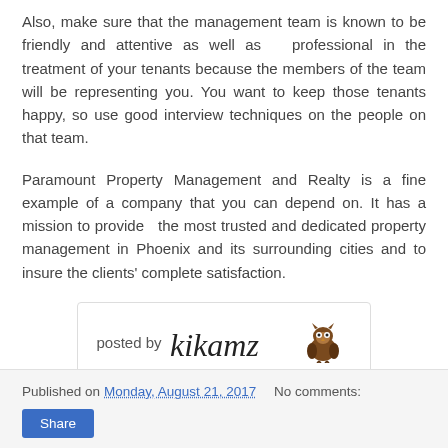Also, make sure that the management team is known to be friendly and attentive as well as  professional in the treatment of your tenants because the members of the team will be representing you. You want to keep those tenants happy, so use good interview techniques on the people on that team.
Paramount Property Management and Realty is a fine example of a company that you can depend on. It has a mission to provide  the most trusted and dedicated property management in Phoenix and its surrounding cities and to insure the clients' complete satisfaction.
[Figure (illustration): A 'posted by kikamz' signature box with handwritten-style signature text and a small brown owl/squirrel icon]
Published on Monday, August 21, 2017   No comments:
Share